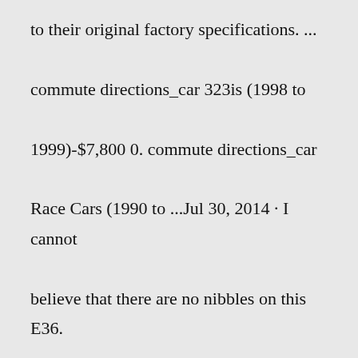to their original factory specifications. ... commute directions_car 323is (1998 to 1999)-$7,800 0. commute directions_car Race Cars (1990 to ...Jul 30, 2014 · I cannot believe that there are no nibbles on this E36. I've driven it and been in the car a few times and it's worth the price. It is clean. If I had the space, it would be in my driveway. Part fits: 1999 BMW 323is Base Coupe E36 2.5L L6 Quantity needed: 1 Manufacturer: